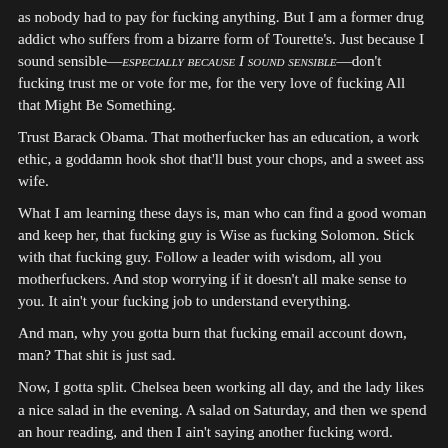as nobody had to pay for fucking anything. But I am a former drug addict who suffers from a bizarre form of Tourette's. Just because I sound sensible—ESPECIALLY BECAUSE I SOUND SENSIBLE—don't fucking trust me or vote for me, for the very love of fucking All that Might Be Something.
Trust Barack Obama. That motherfucker has an education, a work ethic, a goddamn hook shot that'll bust your chops, and a sweet ass wife.
What I am learning these days is, man who can find a good woman and keep her, that fucking guy is Wise as fucking Solomon. Stick with that fucking guy. Follow a leader with wisdom, all you motherfuckers. And stop worrying if it doesn't all make sense to you. It ain't your fucking job to understand everything.
And man, why you gotta burn that fucking email account down, man? That shit is just sad.
Now, I gotta split. Chelsea been working all day, and the lady likes a nice salad in the evening. A salad on Saturday, and then we spend an hour reading, and then I ain't saying another fucking word.
Peace out.